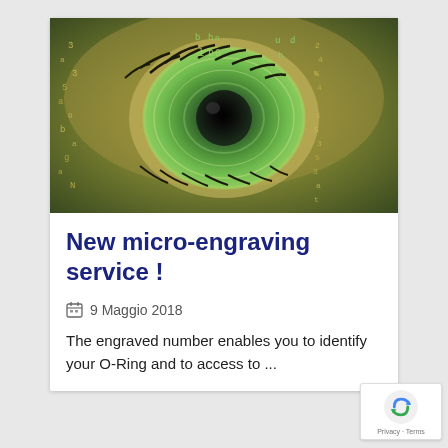[Figure (photo): Close-up photo of a human eye with digital matrix code overlaid in green and gold tones, creating a cyber/technology visual effect.]
New micro-engraving service !
9 Maggio 2018
The engraved number enables you to identify your O-Ring and to access to ...